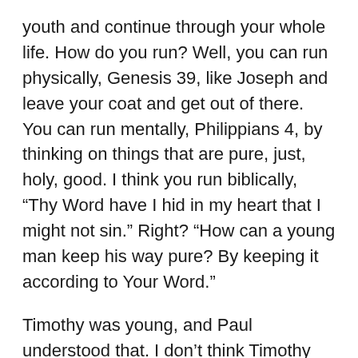youth and continue through your whole life. How do you run? Well, you can run physically, Genesis 39, like Joseph and leave your coat and get out of there. You can run mentally, Philippians 4, by thinking on things that are pure, just, holy, good. I think you run biblically, “Thy Word have I hid in my heart that I might not sin.” Right? “How can a young man keep his way pure? By keeping it according to Your Word.”
Timothy was young, and Paul understood that. I don’t think Timothy was in some kind of horrible sin at this time in his life, in some kind of situation which was overwhelming him. I just think Paul was giving him good instruction because of the reality that we are, though Christians, simultaneously righteous and sinful.
So, he says, “Flee from youthful lusts.” And then he says,